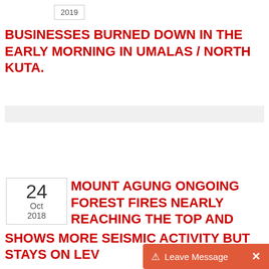2019
BUSINESSES BURNED DOWN IN THE EARLY MORNING IN UMALAS / NORTH KUTA.
24 Oct 2018
MOUNT AGUNG ONGOING FOREST FIRES NEARLY REACHING THE TOP AND SHOWS MORE SEISMIC ACTIVITY BUT STAYS ON LEV
Leave Message